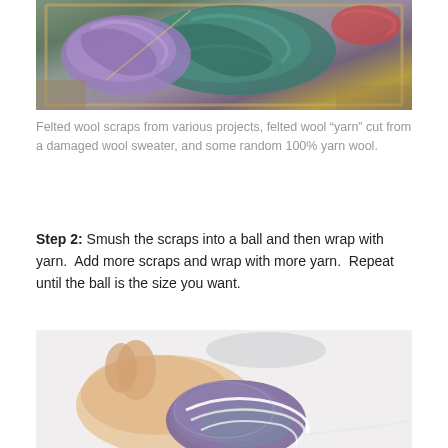[Figure (photo): Overhead view of a wooden box or tray containing felted wool scraps and yarn in teal, purple, and lavender colors on a wooden floor background.]
Felted wool scraps from various projects, felted wool “yarn” cut from a damaged wool sweater, and some random 100% yarn wool.
Step 2: Smush the scraps into a ball and then wrap with yarn.  Add more scraps and wrap with more yarn.  Repeat until the ball is the size you want.
[Figure (photo): A hand holding a small felted wool ball that is being wrapped with white yarn, showing the early stages of creating a felted wool dryer ball.]